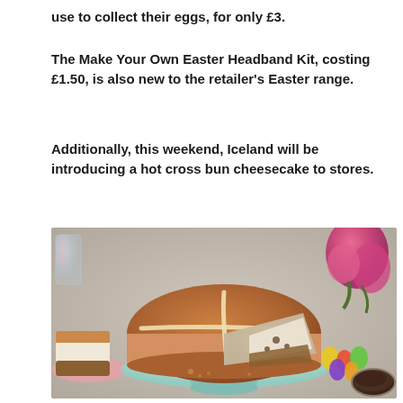use to collect their eggs, for only £3.
The Make Your Own Easter Headband Kit, costing £1.50, is also new to the retailer's Easter range.
Additionally, this weekend, Iceland will be introducing a hot cross bun cheesecake to stores.
[Figure (photo): A hot cross bun cheesecake on a mint green cake stand, with a slice cut out revealing the creamy interior and biscuit base. Decorated with a white cross icing pattern on top. A pink tulip arrangement visible on the right, a glass of pink drink on the left, Easter eggs and a sieve with cocoa powder in the background.]